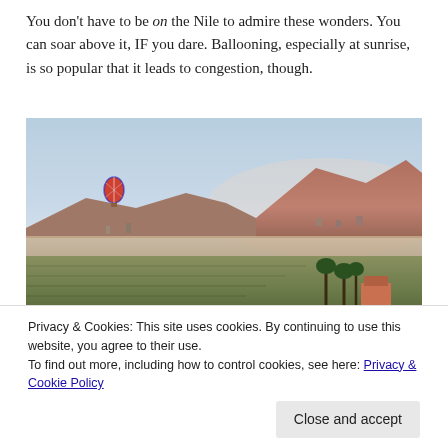You don't have to be on the Nile to admire these wonders. You can soar above it, IF you dare. Ballooning, especially at sunrise, is so popular that it leads to congestion, though.
[Figure (photo): Aerial landscape photo showing a hot air balloon floating over an Egyptian valley with green fields in the foreground, desert terrain and rocky mountains in the background, taken at sunrise or early morning.]
Privacy & Cookies: This site uses cookies. By continuing to use this website, you agree to their use.
To find out more, including how to control cookies, see here: Privacy & Cookie Policy